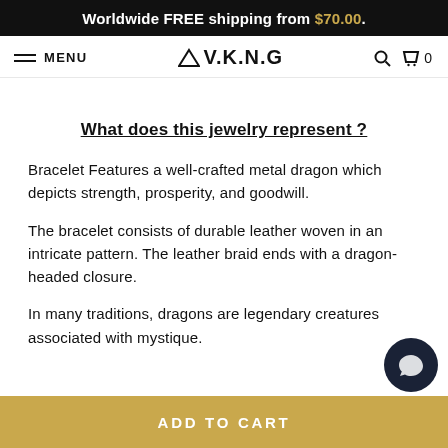Worldwide FREE shipping from $70.00.
MENU  ⟨triangle⟩V.K.N.G  🔍 🛒 0
What does this jewelry represent ?
Bracelet Features a well-crafted metal dragon which depicts strength, prosperity, and goodwill.
The bracelet consists of durable leather woven in an intricate pattern. The leather braid ends with a dragon-headed closure.
In many traditions, dragons are legendary creatures associated with mystique.
ADD TO CART